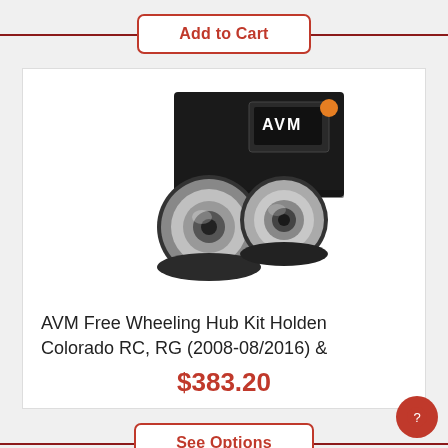Add to Cart
[Figure (photo): AVM Free Wheeling Hub Kit product photo showing two silver hub units and a black branded box with AVM logo]
AVM Free Wheeling Hub Kit Holden Colorado RC, RG (2008-08/2016) &
$383.20
See Options
[Figure (photo): Partial product image at bottom showing a silver metal bracket on black background]